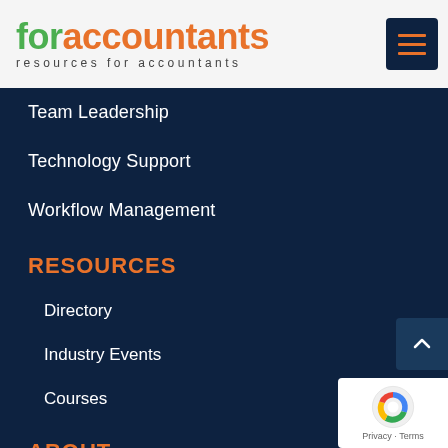[Figure (logo): foraccountants logo with green 'for' and orange 'accountants' text, subtitle 'resources for accountants']
Team Leadership
Technology Support
Workflow Management
RESOURCES
Directory
Industry Events
Courses
ABOUT
About Us
Contact